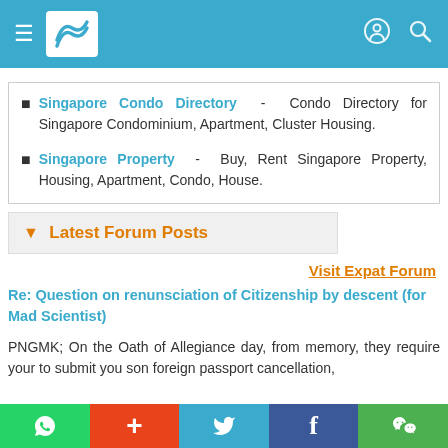Navigation header with hamburger menu, logo, and search icons
Singapore Condo Directory - Condo Directory for Singapore Condominium, Apartment, Cluster Housing.
Singapore Property - Buy, Rent Singapore Property, Housing, Apartment, Condo, House.
▼ Latest Forum Posts
Visit Expat Forum
Re: Question on renunsciation of Citizenship by descent (for Mad Scientist)
PNGMK; On the Oath of Allegiance day, from memory, they require your to submit you son foreign passport cancellation,
Social share buttons: WhatsApp, +, Twitter, Facebook, WeChat